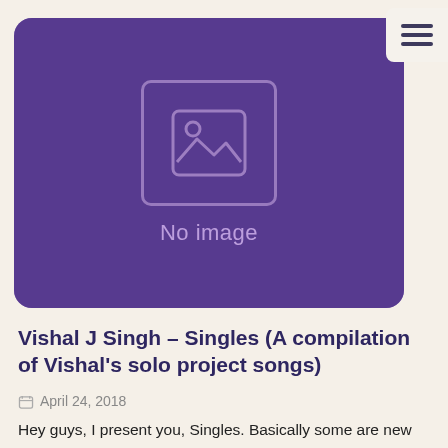[Figure (screenshot): Blog post card with purple background showing a 'No image' placeholder with an image icon and the text 'No image']
Vishal J Singh – Singles (A compilation of Vishal's solo project songs)
April 24, 2018
Hey guys, I present you, Singles. Basically some are new songs and some are old ones. Includes my remix versions of two songs. Hope you guys like it. If you like it, please do buy it. Beautiful photography/art by my […]